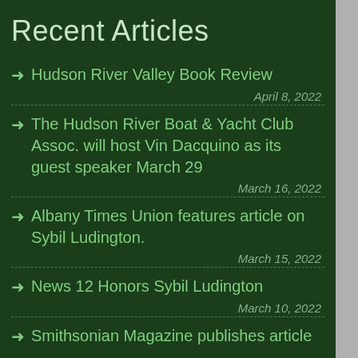Recent Articles
Hudson River Valley Book Review
April 8, 2022
The Hudson River Boat & Yacht Club Assoc. will host Vin Dacquino as its guest speaker March 29
March 16, 2022
Albany Times Union features article on Sybil Ludington.
March 15, 2022
News 12 Honors Sybil Ludington
March 10, 2022
Smithsonian Magazine publishes article